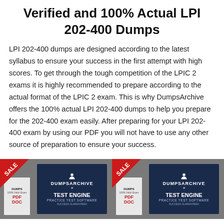Verified and 100% Actual LPI 202-400 Dumps
LPI 202-400 dumps are designed according to the latest syllabus to ensure your success in the first attempt with high scores. To get through the tough competition of the LPIC 2 exams it is highly recommended to prepare according to the actual format of the LPIC 2 exam. This is why DumpsArchive offers the 100% actual LPI 202-400 dumps to help you prepare for the 202-400 exam easily. After preparing for your LPI 202-400 exam by using our PDF you will not have to use any other source of preparation to ensure your success.
[Figure (photo): Product image showing DumpsArchive PDF and Test Engine software with SALE banner in top-left corner]
[Figure (photo): Second product image showing DumpsArchive PDF and Test Engine software with SALE banner in top-left corner]